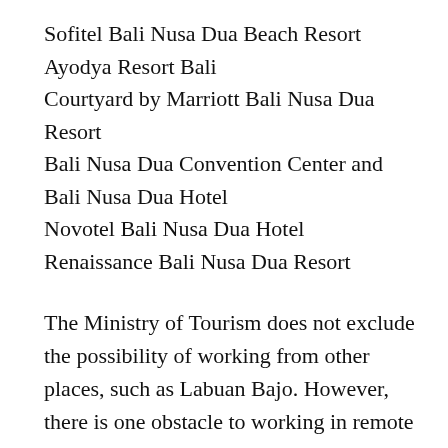Sofitel Bali Nusa Dua Beach Resort
Ayodya Resort Bali
Courtyard by Marriott Bali Nusa Dua Resort
Bali Nusa Dua Convention Center and Bali Nusa Dua Hotel
Novotel Bali Nusa Dua Hotel
Renaissance Bali Nusa Dua Resort
The Ministry of Tourism does not exclude the possibility of working from other places, such as Labuan Bajo. However, there is one obstacle to working in remote locations, and that is Internet connectivity.
illustration: Hotel Melia Bali